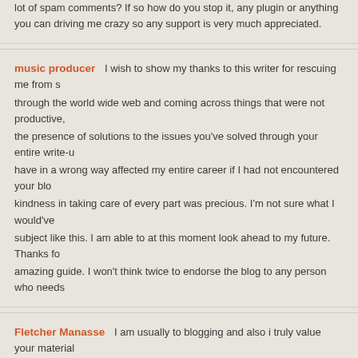lot of spam comments? If so how do you stop it, any plugin or anything you can driving me crazy so any support is very much appreciated.
music producer    I wish to show my thanks to this writer for rescuing me from s... through the world wide web and coming across things that were not productive, the presence of solutions to the issues you've solved through your entire write-u... have in a wrong way affected my entire career if I had not encountered your blo... kindness in taking care of every part was precious. I'm not sure what I would've subject like this. I am able to at this moment look ahead to my future. Thanks fo... amazing guide. I won't think twice to endorse the blog to any person who needs...
Fletcher Manasse    I am usually to blogging and also i truly value your material... rate of interest. I am going to bookmark your site and keep looking for brand-ne...
Annita Giczewski    https://www.pearltrees.com/rylanderneed1971/item298825...
Still's disease    I was looking at some of your articles on this website and I con...